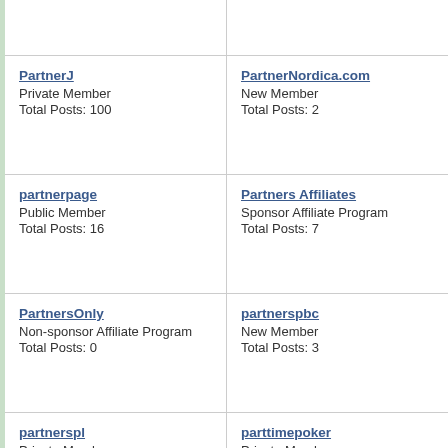PartnerJ
Private Member
Total Posts: 100
PartnerNordica.com
New Member
Total Posts: 2
partnerpage
Public Member
Total Posts: 16
Partners Affiliates
Sponsor Affiliate Program
Total Posts: 7
PartnersOnly
Non-sponsor Affiliate Program
Total Posts: 0
partnerspbc
New Member
Total Posts: 3
partnerspl
Private Member
Total Posts: 0
parttimepoker
Private Member
Total Posts: 10